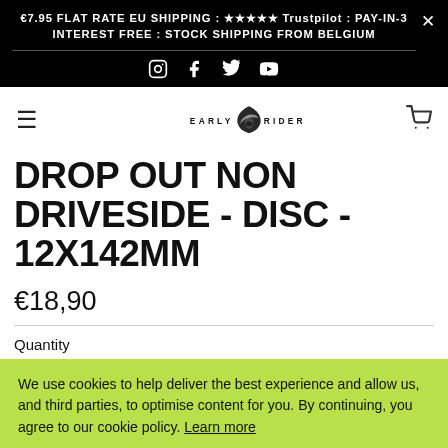€7.95 FLAT RATE EU SHIPPING : ★★★★★ Trustpilot : PAY-IN-3 INTEREST FREE : STOCK SHIPPING FROM BELGIUM
[Figure (logo): Early Rider logo with winged emblem and text EARLY RIDER]
DROP OUT NON DRIVESIDE - DISC - 12X142MM
€18,90
Quantity
We use cookies to help deliver the best experience and allow us, and third parties, to optimise content for you. By continuing, you agree to our cookie policy. Learn more